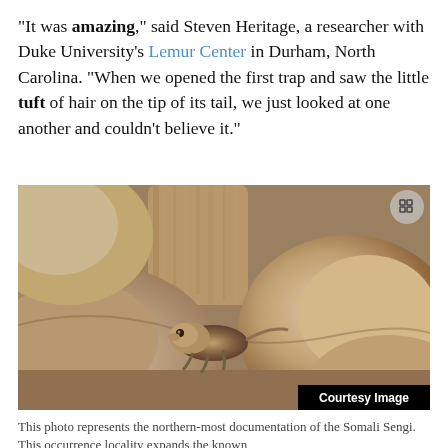"It was amazing," said Steven Heritage, a researcher with Duke University's Lemur Center in Durham, North Carolina. "When we opened the first trap and saw the little tuft of hair on the tip of its tail, we just looked at one another and couldn't believe it."
[Figure (photo): A small mammal (Somali Sengi/elephant shrew) nestled among rocky terrain. The animal is visible in the center of the image among tan and brown rocks. A 'Courtesy Image' label appears in the bottom right corner.]
This photo represents the northern-most documentation of the Somali Sengi. This occurrence locality expands the known range of the species considerably. (Photo by Houssein...